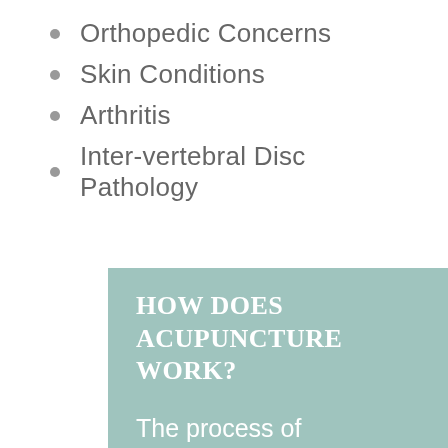Orthopedic Concerns
Skin Conditions
Arthritis
Inter-vertebral Disc Pathology
HOW DOES ACUPUNCTURE WORK?
The process of administering acupuncture involves inserting tiny needles into the skin. This is done to initiate change in the soft tissue. This process results in stimulation of the nervous system and can lead